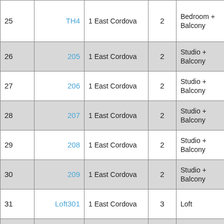| # | Unit | Address | Floor | Type |
| --- | --- | --- | --- | --- |
| 25 | TH4 | 1 East Cordova | 2 | Bedroom + Balcony |
| 26 | 205 | 1 East Cordova | 2 | Studio + Balcony |
| 27 | 206 | 1 East Cordova | 2 | Studio + Balcony |
| 28 | 207 | 1 East Cordova | 2 | Studio + Balcony |
| 29 | 208 | 1 East Cordova | 2 | Studio + Balcony |
| 30 | 209 | 1 East Cordova | 2 | Studio + Balcony |
| 31 | Loft301 | 1 East Cordova | 3 | Loft |
| 32 | Loft310 | 1 East Cordova | 3 | Loft |
| 33 | Loft311 | 1 East Cordova | 3 | Loft |